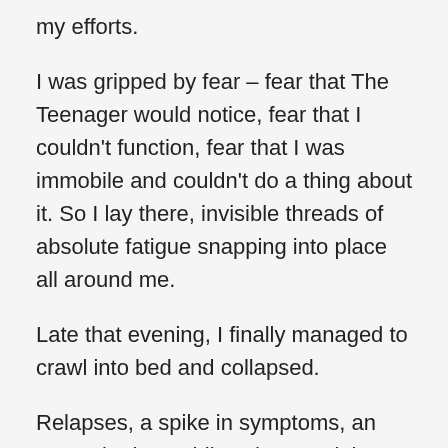my efforts.
I was gripped by fear – fear that The Teenager would notice, fear that I couldn't function, fear that I was immobile and couldn't do a thing about it. So I lay there, invisible threads of absolute fatigue snapping into place all around me.
Late that evening, I finally managed to crawl into bed and collapsed.
Relapses, a spike in symptoms, an exacerbation, a blip, whatever it is when it comes to MS, whatever it's termed, it's dire and we don't always need an MRI to prove it, although in my case they usually do.
I had a pocket of energy after work the other day, so ploughed my way through three lots of laundry, laid bark in the garden and cooked up a massive batch of